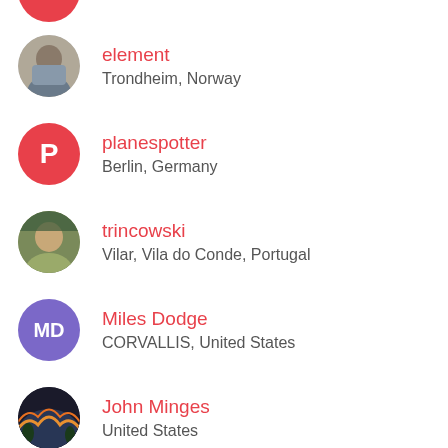element · Trondheim, Norway
planespotter · Berlin, Germany
trincowski · Vilar, Vila do Conde, Portugal
Miles Dodge · CORVALLIS, United States
John Minges · United States
Neil Barnes